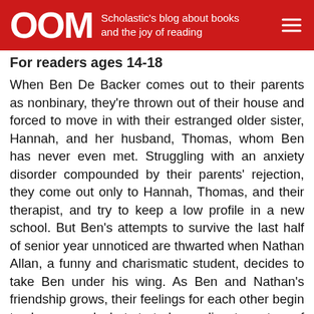OOM — Scholastic's blog about books and the joy of reading
For readers ages 14-18
When Ben De Backer comes out to their parents as nonbinary, they're thrown out of their house and forced to move in with their estranged older sister, Hannah, and her husband, Thomas, whom Ben has never even met. Struggling with an anxiety disorder compounded by their parents' rejection, they come out only to Hannah, Thomas, and their therapist, and try to keep a low profile in a new school. But Ben's attempts to survive the last half of senior year unnoticed are thwarted when Nathan Allan, a funny and charismatic student, decides to take Ben under his wing. As Ben and Nathan's friendship grows, their feelings for each other begin to change, and what started as a disastrous turn of events looks like it might just be a chance to start a happier new life.